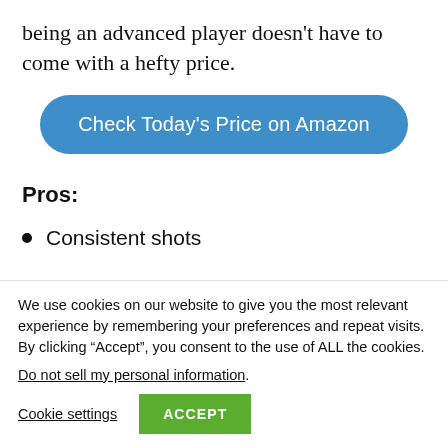being an advanced player doesn't have to come with a hefty price.
[Figure (other): Blue rounded button labeled 'Check Today's Price on Amazon']
Pros:
Consistent shots
We use cookies on our website to give you the most relevant experience by remembering your preferences and repeat visits. By clicking “Accept”, you consent to the use of ALL the cookies.
Do not sell my personal information.
Cookie settings  ACCEPT